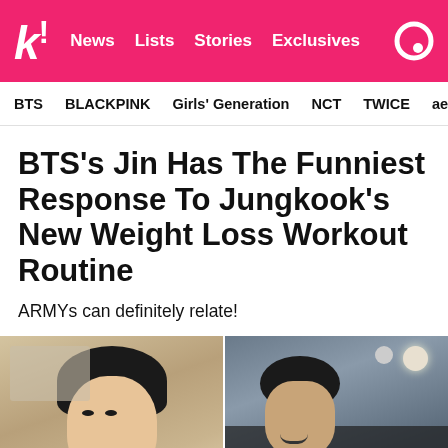k! News Lists Stories Exclusives
BTS  BLACKPINK  Girls' Generation  NCT  TWICE  aespa
BTS's Jin Has The Funniest Response To Jungkook's New Weight Loss Workout Routine
ARMYs can definitely relate!
[Figure (photo): Two photos side by side: left shows Jin (BTS member) looking sideways in a casual indoor setting; right shows Jungkook working out at the gym with a barbell, smiling.]